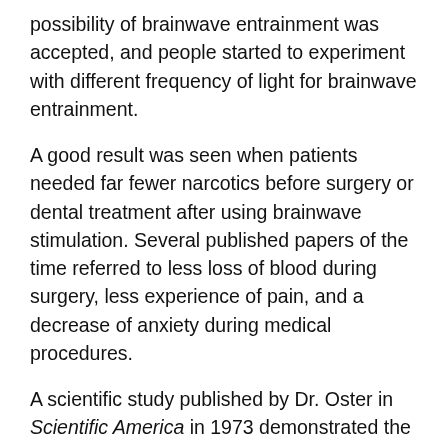possibility of brainwave entrainment was accepted, and people started to experiment with different frequency of light for brainwave entrainment.
A good result was seen when patients needed far fewer narcotics before surgery or dental treatment after using brainwave stimulation. Several published papers of the time referred to less loss of blood during surgery, less experience of pain, and a decrease of anxiety during medical procedures.
A scientific study published by Dr. Oster in Scientific America in 1973 demonstrated the successful use of music for brainwave entrainment. He reported on the impact of two musical tones, which he combined into a rhythmic beat, on the brainwaves of his test subjects. He called these combined tones "monaural" and "binaural beats."
Dr. Oster's research showed that monaural beats